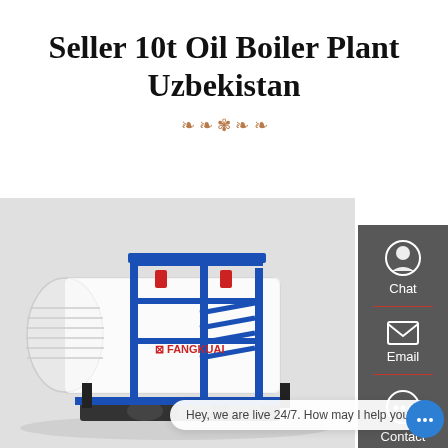Seller 10t Oil Boiler Plant Uzbekistan
[Figure (photo): Industrial oil boiler plant unit (FANGKUAI brand) on a skid frame with blue structural supports and ladder, mounted on black base components, light gray background]
[Figure (infographic): Dark gray sidebar with Chat (headset icon), Email (envelope icon), Contact (speech bubble icon), and up-arrow icons, separated by red dividers]
Hey, we are live 24/7. How may I help you?